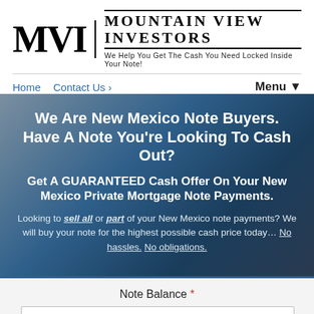[Figure (logo): MVI Mountain View Investors logo with text 'We Help You Get The Cash You Need Locked Inside Your Note!']
Home  Contact Us ›    Menu ▼
We Are New Mexico Note Buyers. Have A Note You're Looking To Cash Out?
Get A GUARANTEED Cash Offer On Your New Mexico Private Mortgage Note Payments.
Looking to sell all or part of your New Mexico note payments? We will buy your note for the highest possible cash price today… No hassles. No obligations.
Note Balance *